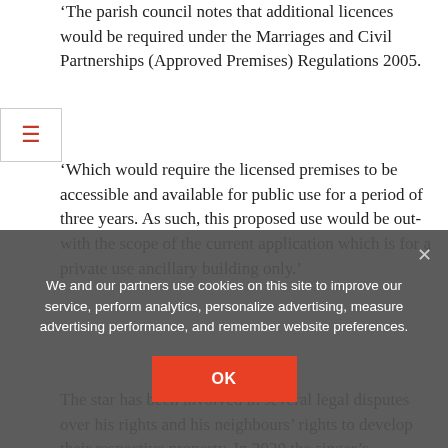'The parish council notes that additional licences would be required under the Marriages and Civil Partnerships (Approved Premises) Regulations 2005.
'Which would require the licensed premises to be accessible and available for public use for a period of three years. As such, this proposed use would be out-with the scope of the current application which is for a private use ancillary building only.'
The star has been involved in several legal disputes over his rights and his neighbours' rights to develop their respective property. In 2020 the singer's neighbour, Anthony Robinson, won a battle against the
We and our partners use cookies on this site to improve our service, perform analytics, personalize advertising, measure advertising performance, and remember website preferences.